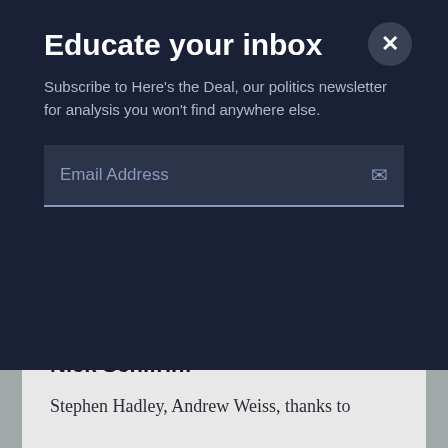Educate your inbox
Subscribe to Here's the Deal, our politics newsletter for analysis you won't find anywhere else.
Email Address
This is a huge agenda for America, raising a real risk of overstretch. And we're going to need a lot of friends and allies and help from others if we're going to manage what I think is going to be a very challenging time going forward.
Nick Schifrin:
Stephen Hadley, Andrew Weiss, thanks to